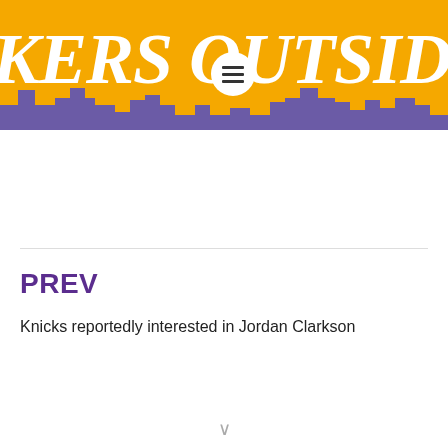[Figure (logo): Lakers Outside the Lines website header banner with gold background, purple city skyline silhouette, white italic bold serif text reading KERS OUTSIDE (partial, cropped), and a hamburger menu icon in a white circle]
PREV
Knicks reportedly interested in Jordan Clarkson